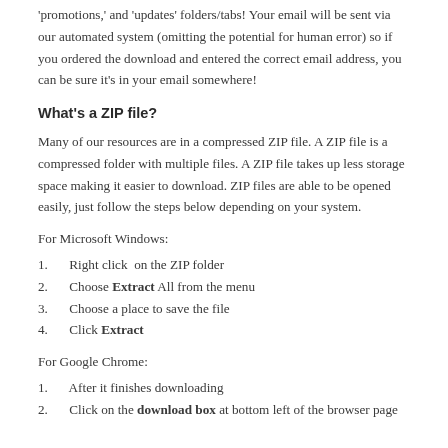'promotions,' and 'updates' folders/tabs! Your email will be sent via our automated system (omitting the potential for human error) so if you ordered the download and entered the correct email address, you can be sure it's in your email somewhere!
What's a ZIP file?
Many of our resources are in a compressed ZIP file. A ZIP file is a compressed folder with multiple files. A ZIP file takes up less storage space making it easier to download. ZIP files are able to be opened easily, just follow the steps below depending on your system.
For Microsoft Windows:
1. Right click  on the ZIP folder
2. Choose Extract All from the menu
3. Choose a place to save the file
4. Click Extract
For Google Chrome:
1. After it finishes downloading
2. Click on the download box at bottom left of the browser page